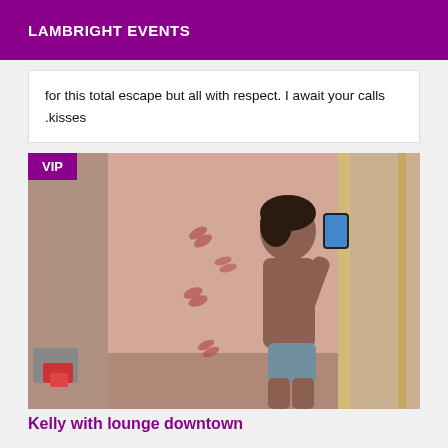LAMBRIGHT EVENTS
for this total escape but all with respect. I await your calls .kisses
[Figure (photo): A person taking a mirror selfie in a room with lip print decorations on a pink wall, wearing minimal clothing. VIP badge overlay in top-left corner.]
Kelly with lounge downtown